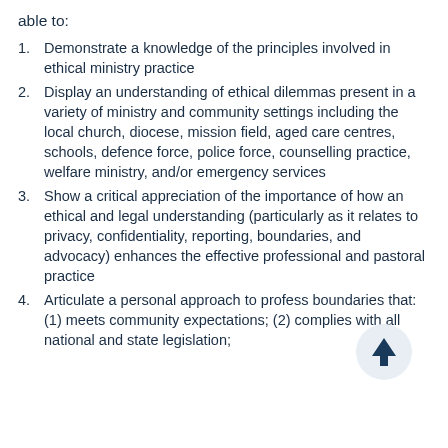able to:
Demonstrate a knowledge of the principles involved in ethical ministry practice
Display an understanding of ethical dilemmas present in a variety of ministry and community settings including the local church, diocese, mission field, aged care centres, schools, defence force, police force, counselling practice, welfare ministry, and/or emergency services
Show a critical appreciation of the importance of how an ethical and legal understanding (particularly as it relates to privacy, confidentiality, reporting, boundaries, and advocacy) enhances the effective professional and pastoral practice
Articulate a personal approach to profess boundaries that: (1) meets community expectations; (2) complies with all national and state legislation;